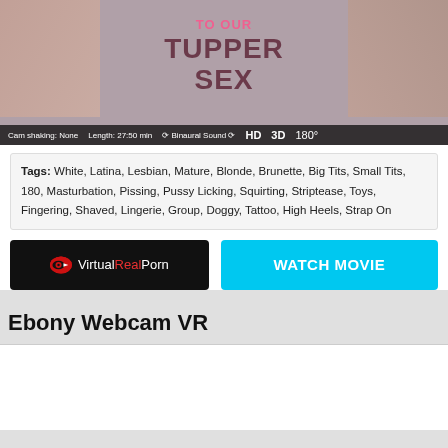[Figure (photo): Video thumbnail showing text 'TUPPER SEX' with status bar showing Cam shaking: None, Length: 27:50 min, Binaural Sound, HD, 3D, 180°]
Tags: White, Latina, Lesbian, Mature, Blonde, Brunette, Big Tits, Small Tits, 180, Masturbation, Pissing, Pussy Licking, Squirting, Striptease, Toys, Fingering, Shaved, Lingerie, Group, Doggy, Tattoo, High Heels, Strap On
[Figure (logo): VirtualRealPorn logo - red icon with play button and eye, white text on black background]
WATCH MOVIE
Ebony Webcam VR